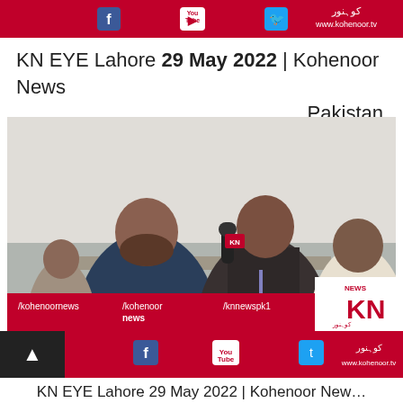[Figure (screenshot): Kohenoor News top banner with Facebook, YouTube, Twitter icons and kohenoor.tv URL on red background]
KN EYE Lahore 29 May 2022 | Kohenoor News Pakistan
[Figure (screenshot): Video still showing a TV news reporter holding a microphone interviewing a man in a blue shirt; another person visible in background; Kohenoor News KN logo and social media handles on red bottom bar]
[Figure (screenshot): Kohenoor News bottom banner with Facebook, YouTube, Twitter icons, back arrow button, and kohenoor.tv URL on red background]
KN EYE Lahore 29 May 2022 | Kohenoor New…